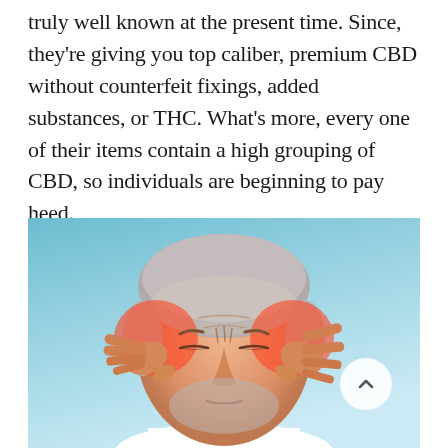truly well known at the present time. Since, they're giving you top caliber, premium CBD without counterfeit fixings, added substances, or THC. What's more, every one of their items contain a high grouping of CBD, so individuals are beginning to pay heed.
[Figure (photo): Elderly man with grey beard and hair pressing both index fingers to his temples with eyes closed, showing pain/headache. His temples are highlighted in red/orange to indicate pain. Background is a light blue-teal gradient. A white circular scroll-up button is visible in the lower right.]